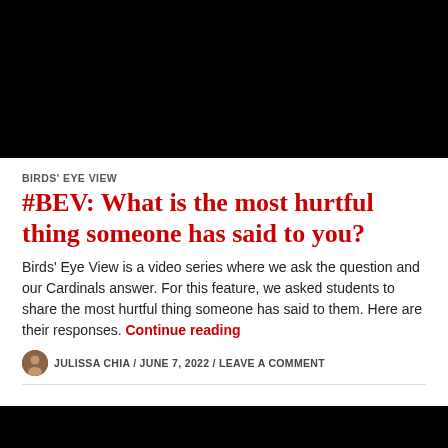[Figure (photo): Black rectangle at top of page (video thumbnail placeholder)]
BIRDS' EYE VIEW
#BEV: What is the most hurtful thing someone has said to you?
Birds' Eye View is a video series where we ask the question and our Cardinals answer. For this feature, we asked students to share the most hurtful thing someone has said to them. Here are their responses. Continue reading
JULISSA CHIA / JUNE 7, 2022 / LEAVE A COMMENT
[Figure (photo): Black rectangle at bottom of page (video thumbnail placeholder)]